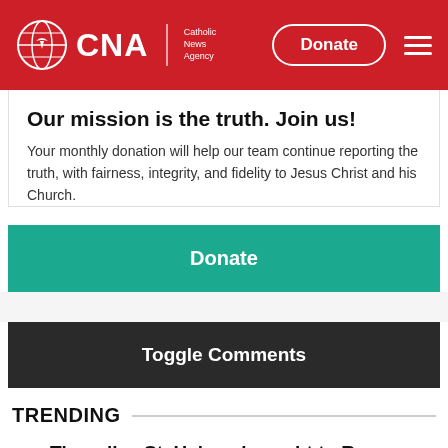[Figure (logo): CNA Catholic News Agency logo with globe icon on red header bar, Donate button, and hamburger menu]
Our mission is the truth. Join us!
Your monthly donation will help our team continue reporting the truth, with fairness, integrity, and fidelity to Jesus Christ and his Church.
Donate
Toggle Comments
TRENDING
The relics St. Helena brought to Rome from the Holy Land